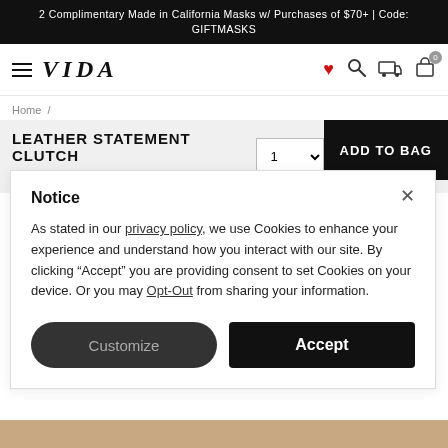2 Complimentary Made in California Masks w/ Purchases of $70+ | Code: GIFTMASKS
[Figure (screenshot): VIDA brand navigation bar with hamburger menu, brand logo VIDA, heart icon, search icon, track order icon, and bag icon with 0 badge]
Home /
LEATHER STATEMENT CLUTCH
$75
Notice
As stated in our privacy policy, we use Cookies to enhance your experience and understand how you interact with our site. By clicking “Accept” you are providing consent to set Cookies on your device. Or you may Opt-Out from sharing your information.
Customize
Accept